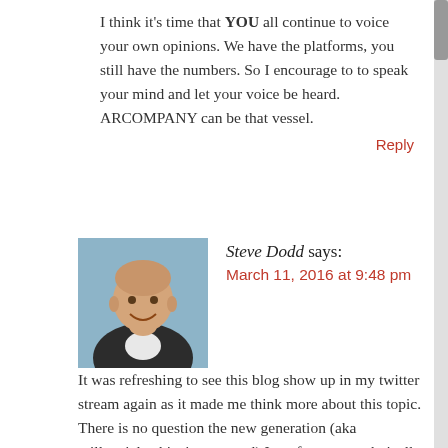I think it's time that YOU all continue to voice your own opinions. We have the platforms, you still have the numbers. So I encourage to to speak your mind and let your voice be heard. ARCOMPANY can be that vessel.
Reply
[Figure (photo): Headshot of an older bald man smiling, wearing a dark jacket, against a blue background]
Steve Dodd says:
March 11, 2016 at 9:48 pm
It was refreshing to see this blog show up in my twitter stream again as it made me think more about this topic. There is no question the new generation (aka millennials, this time around) I are far more technically adept and lack the sense of 'fear' of the unknown that older folks have. But, make no mistake about it, this has been the cycle of society for thousands of years. The only thing that's changing is the pace of change itself. We also held our parents irrelevant when we were their